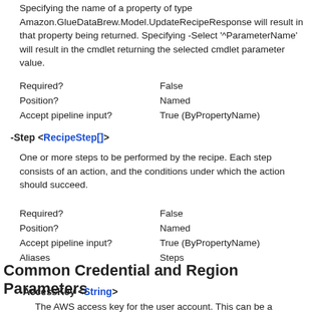Specifying the name of a property of type Amazon.GlueDataBrew.Model.UpdateRecipeResponse will result in that property being returned. Specifying -Select '^ParameterName' will result in the cmdlet returning the selected cmdlet parameter value.
| Required? | False |
| Position? | Named |
| Accept pipeline input? | True (ByPropertyName) |
-Step <RecipeStep[]>
One or more steps to be performed by the recipe. Each step consists of an action, and the conditions under which the action should succeed.
| Required? | False |
| Position? | Named |
| Accept pipeline input? | True (ByPropertyName) |
| Aliases | Steps |
Common Credential and Region Parameters
-AccessKey <String>
The AWS access key for the user account. This can be a temporary access key if the corresponding session token is